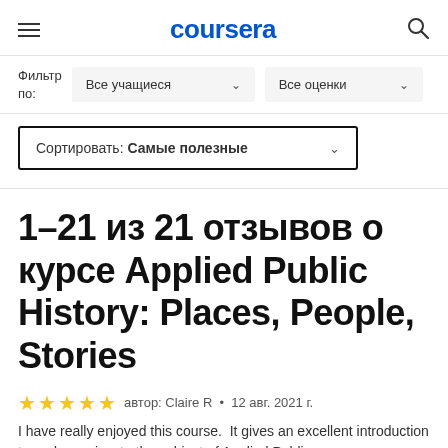coursera
Фильтр по: Все учащиеся ∨  Все оценки ∨
Сортировать: Самые полезные ∨
1–21 из 21 отзывов о курсе Applied Public History: Places, People, Stories
★★★★★ автор: Claire R • 12 авг. 2021 г.
I have really enjoyed this course.  It gives an excellent introduction to and overview to the subject of Applied Public